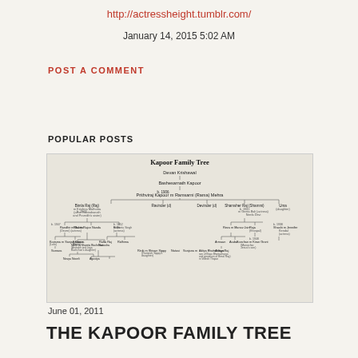http://actressheight.tumblr.com/
January 14, 2015 5:02 AM
POST A COMMENT
POPULAR POSTS
[Figure (organizational-chart): Kapoor Family Tree diagram showing genealogical connections across multiple generations including Prithviraj Kapoor, Raj Kapoor, Shammi Kapoor, Shashi Kapoor and their descendants]
June 01, 2011
THE KAPOOR FAMILY TREE